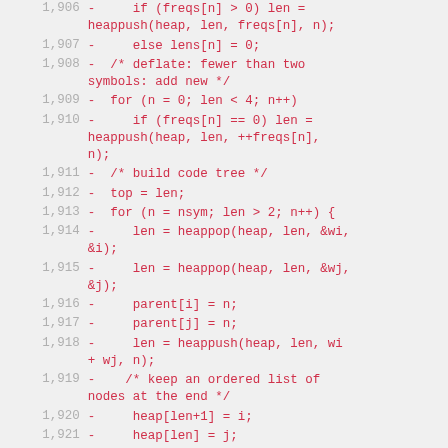Code diff showing C source lines 1,906–1,925 with line numbers and removed lines (prefixed with -)
1,906  -     if (freqs[n] > 0) len = heappush(heap, len, freqs[n], n);
1,907  -     else lens[n] = 0;
1,908  -  /* deflate: fewer than two symbols: add new */
1,909  -  for (n = 0; len < 4; n++)
1,910  -     if (freqs[n] == 0) len = heappush(heap, len, ++freqs[n], n);
1,911  -  /* build code tree */
1,912  -  top = len;
1,913  -  for (n = nsym; len > 2; n++) {
1,914  -     len = heappop(heap, len, &wi, &i);
1,915  -     len = heappop(heap, len, &wj, &j);
1,916  -     parent[i] = n;
1,917  -     parent[j] = n;
1,918  -     len = heappush(heap, len, wi + wj, n);
1,919  -    /* keep an ordered list of nodes at the end */
1,920  -     heap[len+1] = i;
1,921  -     heap[len] = j;
1,922  -  }
1,923  -  /* calc code lengths (deflate: with limit) */
1,924  -  overflow = 0;
1,925  -  parent[--n] = 0;